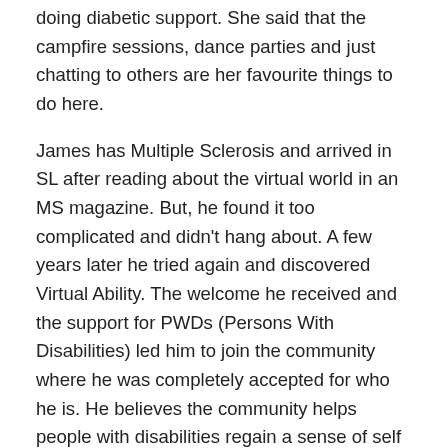doing diabetic support. She said that the campfire sessions, dance parties and just chatting to others are her favourite things to do here.
James has Multiple Sclerosis and arrived in SL after reading about the virtual world in an MS magazine. But, he found it too complicated and didn't hang about. A few years later he tried again and discovered Virtual Ability. The welcome he received and the support for PWDs (Persons With Disabilities) led him to join the community where he was completely accepted for who he is. He believes the community helps people with disabilities regain a sense of self worth and seek out better ways to improve their lives. James concluded ‘I may have MS, but MS does NOT have me! Here is where I belong.’
Gentle opened the discussion for Q&A by reminding us to